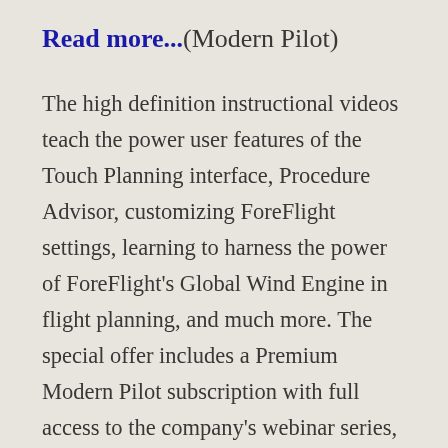Read more...(Modern Pilot)
The high definition instructional videos teach the power user features of the Touch Planning interface, Procedure Advisor, customizing ForeFlight settings, learning to harness the power of ForeFlight's Global Wind Engine in flight planning, and much more. The special offer includes a Premium Modern Pilot subscription with full access to the company's webinar series, early access to